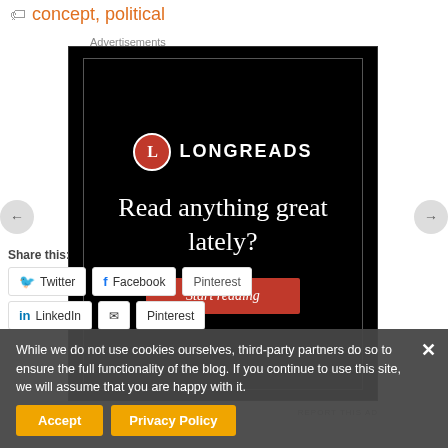concept, political
Advertisements
[Figure (screenshot): Longreads advertisement banner on black background with logo, headline 'Read anything great lately?' and a 'Start reading' button]
Share this:
Twitter
Facebook
LinkedIn
Email
Pinterest
While we do not use cookies ourselves, third-party partners do so to ensure the full functionality of the blog. If you continue to use this site, we will assume that you are happy with it.